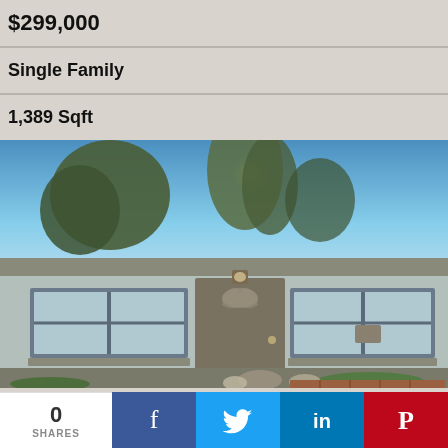$299,000
Single Family
1,389 Sqft
[Figure (photo): Front exterior of a single-story residential home with light blue/grey block walls, a brown front door with sunburst window, two large windows, and trees in background against a blue sky]
0 SHARES
f (Facebook share button)
Twitter share button
in (LinkedIn share button)
P (Pinterest share button)